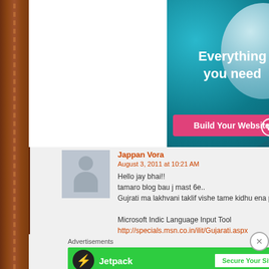[Figure (screenshot): Advertisement banner with teal background showing 'Everything you need' and 'Any you' text with a 'Build Your Website' pink button and WordPress logo]
Jappan Vora
August 3, 2011 at 10:21 AM
Hello jay bhai!!
tamaro blog bau j mast 6e..
Gujrati ma lakhvani taklif vishe tame kidhu ena parthi man

Microsoft Indic Language Input Tool
http://specials.msn.co.in/ilit/Gujarati.aspx

AA link par thi e install kari le atle typing English man...
Advertisements
[Figure (screenshot): Jetpack advertisement banner in green with 'Secure Your Site' button]